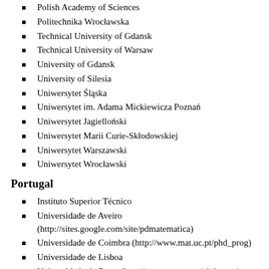Polish Academy of Sciences
Politechnika Wrocławska
Technical University of Gdansk
Technical University of Warsaw
University of Gdansk
University of Silesia
Uniwersytet Śląska
Uniwersytet im. Adama Mickiewicza Poznań
Uniwersytet Jagielloński
Uniwersytet Marii Curie-Skłodowskiej
Uniwersytet Warszawski
Uniwersytet Wrocławski
Portugal
Instituto Superior Técnico
Universidade de Aveiro (http://sites.google.com/site/pdmatematica)
Universidade de Coimbra (http://www.mat.uc.pt/phd_prog)
Universidade de Lisboa
Universidade do Porto (http://www.mat.uc.pt/phd_prog)
Universidade Nova de Lisboa
Universidade Técnica de Lisboa
Romania